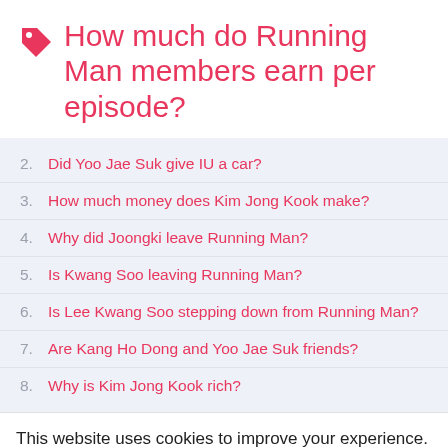How much do Running Man members earn per episode?
2. Did Yoo Jae Suk give IU a car?
3. How much money does Kim Jong Kook make?
4. Why did Joongki leave Running Man?
5. Is Kwang Soo leaving Running Man?
6. Is Lee Kwang Soo stepping down from Running Man?
7. Are Kang Ho Dong and Yoo Jae Suk friends?
8. Why is Kim Jong Kook rich?
This website uses cookies to improve your experience. We'll assume you're ok with this, but you can opt-out if you wish.
Accept  Read More